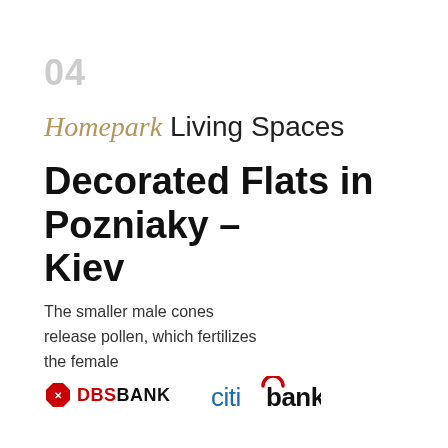04
Homepark Living Spaces
Decorated Flats in Pozniaky – Kiev
The smaller male cones release pollen, which fertilizes the female
[Figure (logo): DBS Bank logo with red octagon icon and DBS BANK text]
[Figure (logo): Citibank logo with red arc above 'citi' in blue and 'bank' in black]